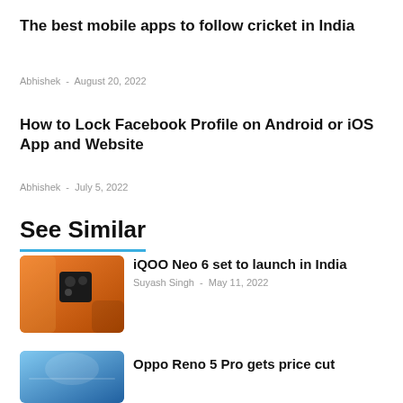The best mobile apps to follow cricket in India
Abhishek - August 20, 2022
How to Lock Facebook Profile on Android or iOS App and Website
Abhishek - July 5, 2022
See Similar
[Figure (photo): Orange iQOO Neo 6 smartphone close-up]
iQOO Neo 6 set to launch in India
Suyash Singh - May 11, 2022
[Figure (photo): Blue Oppo Reno 5 Pro smartphone]
Oppo Reno 5 Pro gets price cut